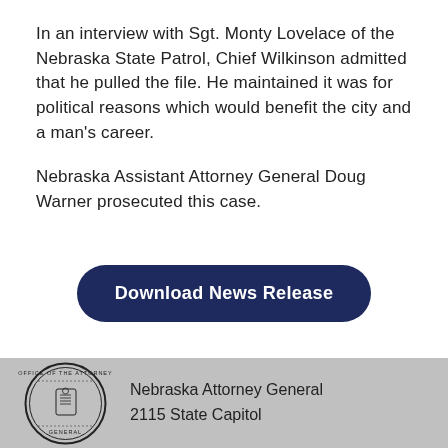In an interview with Sgt. Monty Lovelace of the Nebraska State Patrol, Chief Wilkinson admitted that he pulled the file. He maintained it was for political reasons which would benefit the city and a man's career.
Nebraska Assistant Attorney General Doug Warner prosecuted this case.
[Figure (other): Dark navy blue rounded rectangle button labeled 'Download News Release' in white bold text]
[Figure (logo): Circular seal of the Office of the Attorney General of Nebraska]
Nebraska Attorney General
2115 State Capitol